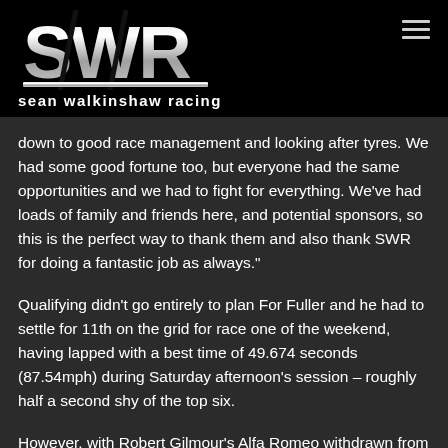[Figure (logo): Sean Walkinshaw Racing (SWR) logo with metallic silver lettering and brand name below]
down to good race management and looking after tyres. We had some good fortune too, but everyone had the same opportunities and we had to fight for everything. We've had loads of family and friends here, and potential sponsors, so this is the perfect way to thank them and also thank SWR for doing a fantastic job as always."
Qualifying didn't go entirely to plan For Fuller and he had to settle for 11th on the grid for race one of the weekend, having lapped with a best time of 49.674 seconds (87.54mph) during Saturday afternoon's session – roughly half a second shy of the top six.
However, with Robert Gilmour's Alfa Romeo withdrawn from the